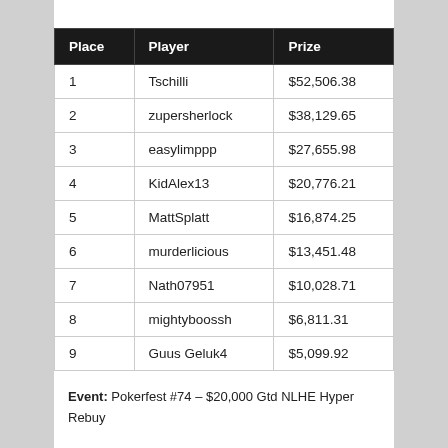| Place | Player | Prize |
| --- | --- | --- |
| 1 | Tschilli | $52,506.38 |
| 2 | zupersherlock | $38,129.65 |
| 3 | easylimppp | $27,655.98 |
| 4 | KidAlex13 | $20,776.21 |
| 5 | MattSplatt | $16,874.25 |
| 6 | murderlicious | $13,451.48 |
| 7 | Nath07951 | $10,028.71 |
| 8 | mightyboossh | $6,811.31 |
| 9 | Guus Geluk4 | $5,099.92 |
Event: Pokerfest #74 – $20,000 Gtd NLHE Hyper Rebuy